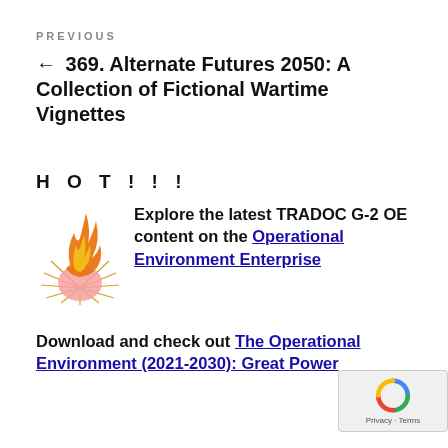PREVIOUS
← 369. Alternate Futures 2050: A Collection of Fictional Wartime Vignettes
HOT!!!
[Figure (illustration): Flame/fire logo illustration for TRADOC G-2 OE]
Explore the latest TRADOC G-2 OE content on the Operational Environment Enterprise
Download and check out The Operational Environment (2021-2030): Great Power